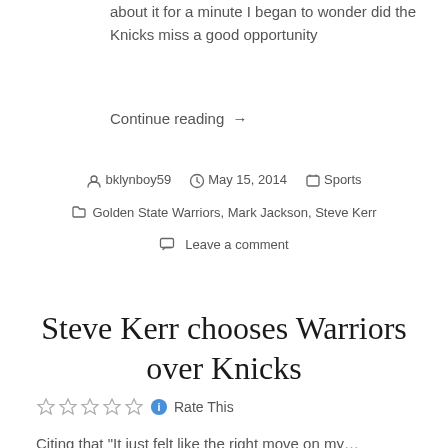about it for a minute I began to wonder did the Knicks miss a good opportunity
Continue reading →
bklynboy59   May 15, 2014   Sports
Golden State Warriors, Mark Jackson, Steve Kerr
Leave a comment
Steve Kerr chooses Warriors over Knicks
Rate This
Citing that "It just felt like the right move on my...